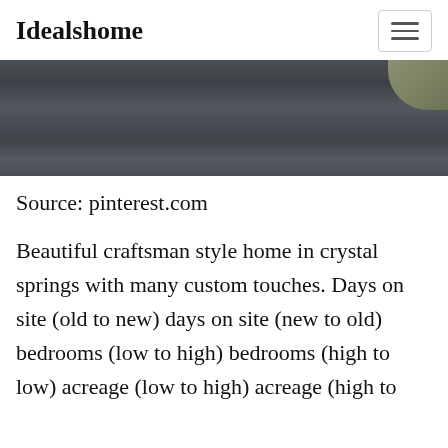Idealshome
[Figure (photo): Aerial or close-up view of a dark asphalt driveway or road surface with a light-colored curb or edging visible in the upper right corner.]
Source: pinterest.com
Beautiful craftsman style home in crystal springs with many custom touches. Days on site (old to new) days on site (new to old) bedrooms (low to high) bedrooms (high to low) acreage (low to high) acreage (high to